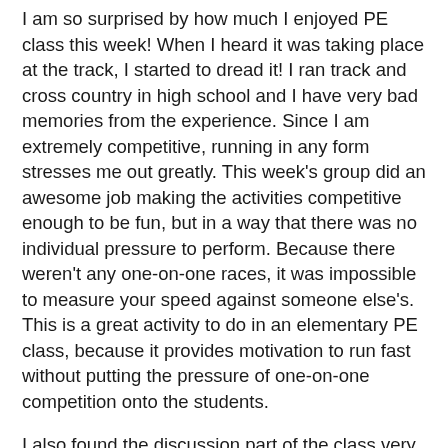I am so surprised by how much I enjoyed PE class this week! When I heard it was taking place at the track, I started to dread it! I ran track and cross country in high school and I have very bad memories from the experience. Since I am extremely competitive, running in any form stresses me out greatly. This week's group did an awesome job making the activities competitive enough to be fun, but in a way that there was no individual pressure to perform. Because there weren't any one-on-one races, it was impossible to measure your speed against someone else's. This is a great activity to do in an elementary PE class, because it provides motivation to run fast without putting the pressure of one-on-one competition onto the students.
I also found the discussion part of the class very interesting. Being inclusive is hard in any classroom, but it is often even more difficult in a PE class. We talked about how often times there is no black-and-white right answer when it comes to inclusivity. To include one student sometimes inconveniences